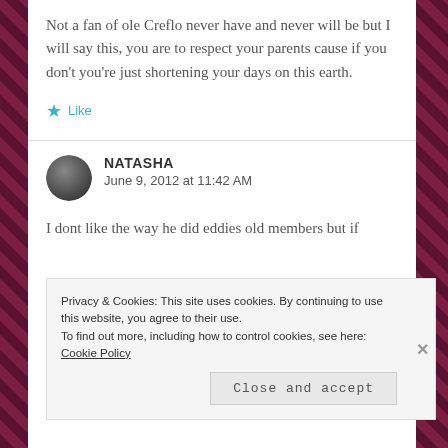Not a fan of ole Creflo never have and never will be but I will say this, you are to respect your parents cause if you don’t you’re just shortening your days on this earth.
★ Like
NATASHA
June 9, 2012 at 11:42 AM
I dont like the way he did eddies old members but if
Privacy & Cookies: This site uses cookies. By continuing to use this website, you agree to their use.
To find out more, including how to control cookies, see here: Cookie Policy
Close and accept